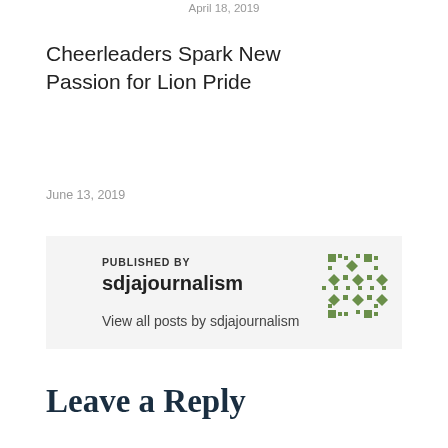April 18, 2019
Cheerleaders Spark New Passion for Lion Pride
June 13, 2019
PUBLISHED BY
sdjajournalism
View all posts by sdjajournalism
Leave a Reply